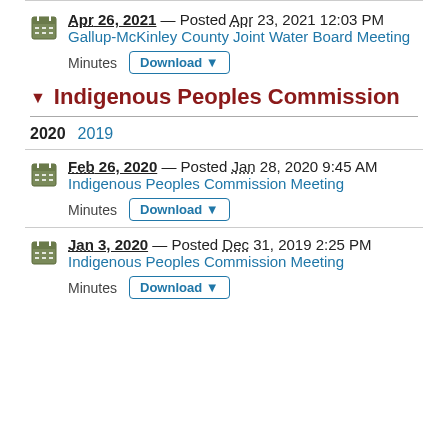Apr 26, 2021 — Posted Apr 23, 2021 12:03 PM
Gallup-McKinley County Joint Water Board Meeting
Minutes Download
Indigenous Peoples Commission
2020  2019
Feb 26, 2020 — Posted Jan 28, 2020 9:45 AM
Indigenous Peoples Commission Meeting
Minutes Download
Jan 3, 2020 — Posted Dec 31, 2019 2:25 PM
Indigenous Peoples Commission Meeting
Minutes Download